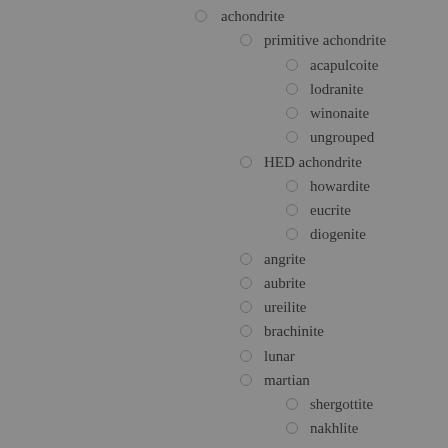achondrite
primitive achondrite
acapulcoite
lodranite
winonaite
ungrouped
HED achondrite
howardite
eucrite
diogenite
angrite
aubrite
ureilite
brachinite
lunar
martian
shergottite
nakhlite